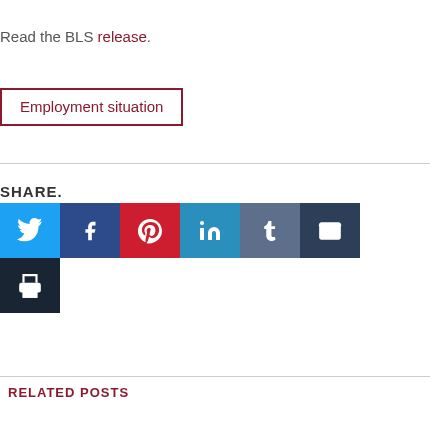Read the BLS release.
Employment situation
SHARE.
[Figure (other): Social share buttons: Twitter, Facebook, Pinterest, LinkedIn, Tumblr, Email, Print]
RELATED POSTS